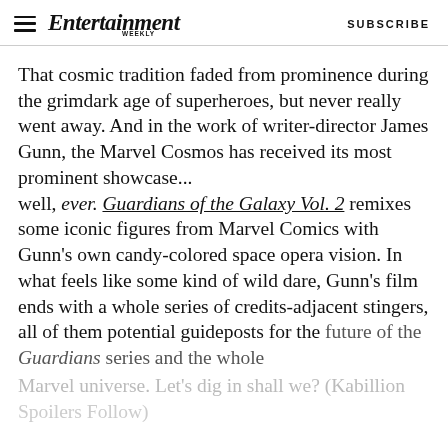Entertainment Weekly   SUBSCRIBE
That cosmic tradition faded from prominence during the grimdark age of superheroes, but never really went away. And in the work of writer-director James Gunn, the Marvel Cosmos has received its most prominent showcase... well, ever. Guardians of the Galaxy Vol. 2 remixes some iconic figures from Marvel Comics with Gunn's own candy-colored space opera vision. In what feels like some kind of wild dare, Gunn's film ends with a whole series of credits-adjacent stingers, all of them potential guideposts for the future of the Guardians series and the whole Marvel universe. Let's dig in shall we? (Kabillion Spoilers Follow)